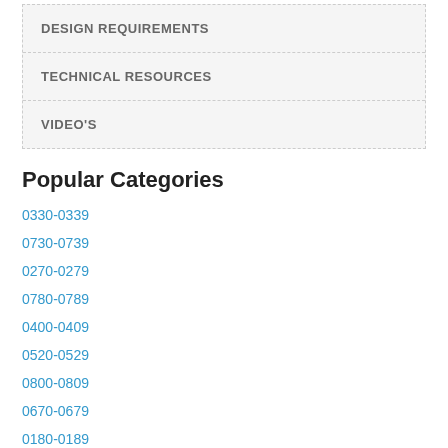DESIGN REQUIREMENTS
TECHNICAL RESOURCES
VIDEO'S
Popular Categories
0330-0339
0730-0739
0270-0279
0780-0789
0400-0409
0520-0529
0800-0809
0670-0679
0180-0189
0170-0179